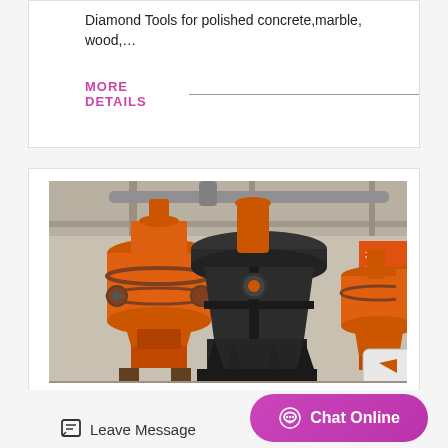Diamond Tools for polished concrete,marble, wood,…
MORE DETAILS
[Figure (photo): Industrial grinding/milling machines in a factory setting. Large orange and dark gray cylindrical cone crusher/mill machines arranged in a row inside a workshop. Equipment appears to be heavy mining or quarrying machinery.]
Leave Message
Chat Online